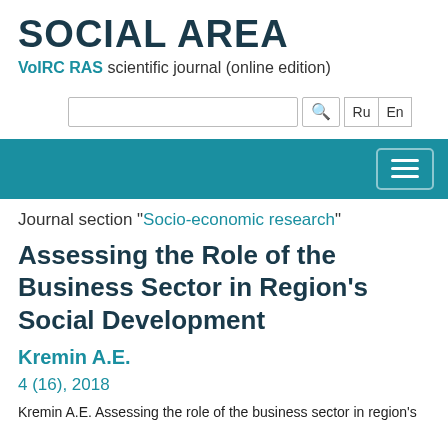SOCIAL AREA
VoIRC RAS scientific journal (online edition)
[Figure (screenshot): Search bar with magnifying glass icon and language toggle buttons Ru / En]
[Figure (screenshot): Teal navigation bar with hamburger menu button (three horizontal lines) on the right]
Journal section "Socio-economic research"
Assessing the Role of the Business Sector in Region's Social Development
Kremin A.E.
4 (16), 2018
Kremin A.E. Assessing the role of the business sector in region's